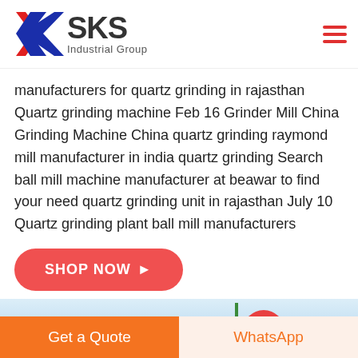[Figure (logo): SKS Industrial Group logo with red and blue K letter mark and company name]
manufacturers for quartz grinding in rajasthan Quartz grinding machine Feb 16 Grinder Mill China Grinding Machine China quartz grinding raymond mill manufacturer in india quartz grinding Search ball mill machine manufacturer at beawar to find your need quartz grinding unit in rajasthan July 10 Quartz grinding plant ball mill manufacturers
SHOP NOW →
[Figure (map): Partial map strip with a green pole and red circle element]
Get a Quote
WhatsApp